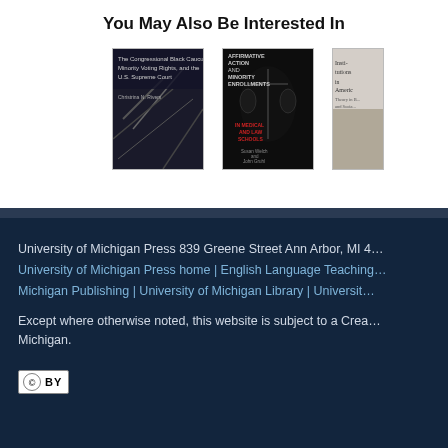You May Also Be Interested In
[Figure (illustration): Three book covers: 'The Congressional Black Caucus, Minority Voting Rights, and the U.S. Supreme Court' by Christrina N. Rivers; 'Affirmative Action and Minority Enrollments in Medical and Law Schools' by Susan Welch and John Gruhl; and a third partially visible book about American institutions.]
University of Michigan Press 839 Greene Street Ann Arbor, MI 4
University of Michigan Press home | English Language Teaching
Michigan Publishing | University of Michigan Library | Universit
Except where otherwise noted, this website is subject to a Creative Commons Attribution license. © University of Michigan.
[Figure (logo): Creative Commons BY license badge]